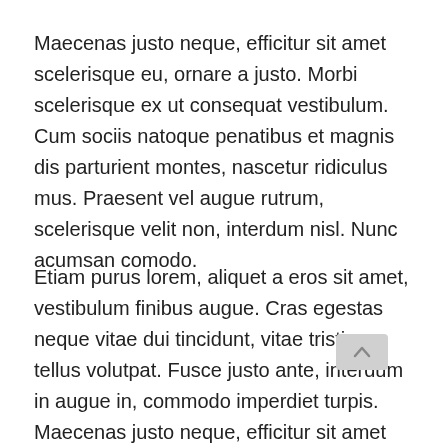Maecenas justo neque, efficitur sit amet scelerisque eu, ornare a justo. Morbi scelerisque ex ut consequat vestibulum. Cum sociis natoque penatibus et magnis dis parturient montes, nascetur ridiculus mus. Praesent vel augue rutrum, scelerisque velit non, interdum nisl. Nunc acumsan comodo.
Etiam purus lorem, aliquet a eros sit amet, vestibulum finibus augue. Cras egestas neque vitae dui tincidunt, vitae tristique tellus volutpat. Fusce justo ante, interdum in augue in, commodo imperdiet turpis. Maecenas justo neque, efficitur sit amet scelerisque eu, ornare a justo.